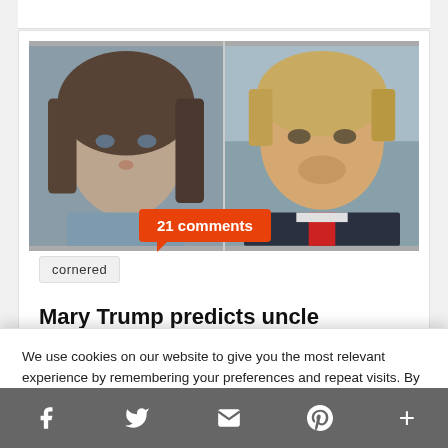[Figure (photo): Side-by-side photos of a woman with dark hair (Mary Trump) on the left and an older blond man (Donald Trump) on the right]
21 comments
cornered
Mary Trump predicts uncle Donald Trump's next move as
We use cookies on our website to give you the most relevant experience by remembering your preferences and repeat visits. By clicking “Accept”, you consent to the use of ALL the cookies.
Do not sell my personal information
Cookie Settings
Accept
f  [twitter]  [email]  p  +